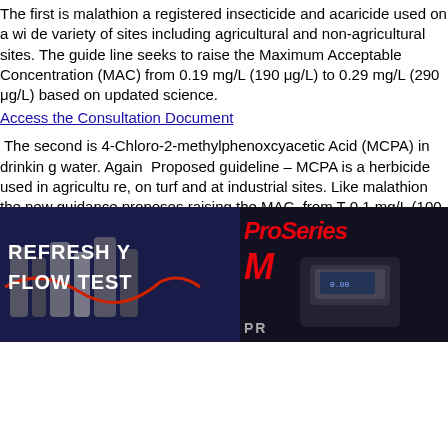The first is malathion a registered insecticide and acaricide used on a wide variety of sites including agricultural and non-agricultural sites. The guideline seeks to raise the Maximum Acceptable Concentration (MAC) from 0.19 mg/L (190 μg/L) to 0.29 mg/L (290 μg/L) based on updated science.
Access the Consultation Document
The second is 4-Chloro-2-methylphenoxcyacetic Acid (MCPA) in drinking water. Again Proposed guideline – MCPA is a herbicide used in agriculture, on turf and at industrial sites. Like malathion the new guidance proposes raising the MAC, from T 0.1 mg/L (100 μg/L) to 0.4 mg/L (400 μg/L) based on updated science.
Access the Consultation Document
[Figure (other): Social media icons: Facebook (blue square with F), Twitter (light blue square with bird), LinkedIn (blue square with 'in')]
[Figure (photo): Left advertisement banner: dark background with lab equipment/bottles, text reads 'REFRESH Y' and 'FLOW TEST' in white bold letters]
[Figure (photo): Right advertisement banner: dark background with ProSeries equipment/meter device, text reads 'ProSeries' in red italic and 'M' in red and 'PR' in grey]